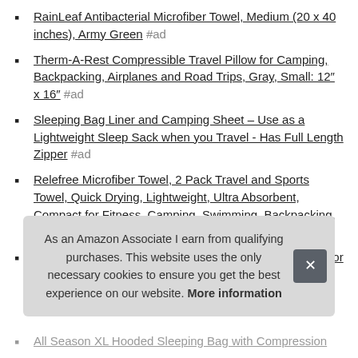RainLeaf Antibacterial Microfiber Towel, Medium (20 x 40 inches), Army Green #ad
Therm-A-Rest Compressible Travel Pillow for Camping, Backpacking, Airplanes and Road Trips, Gray, Small: 12″ x 16″ #ad
Sleeping Bag Liner and Camping Sheet – Use as a Lightweight Sleep Sack when you Travel - Has Full Length Zipper #ad
Relefree Microfiber Towel, 2 Pack Travel and Sports Towel, Quick Drying, Lightweight, Ultra Absorbent, Compact for Fitness, Camping, Swimming, Backpacking, Beach, Yoga, Pilates, Gym, Bath, Shower #ad
ArcherOG Biodegradable Wipes for Camping and Outdoor
As an Amazon Associate I earn from qualifying purchases. This website uses the only necessary cookies to ensure you get the best experience on our website. More information
All Season XL Hooded Sleeping Bag with Compression